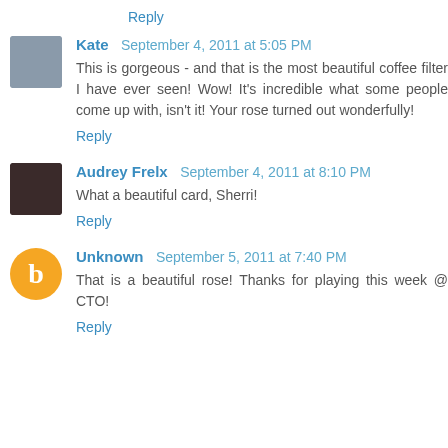Reply
Kate  September 4, 2011 at 5:05 PM
This is gorgeous - and that is the most beautiful coffee filter I have ever seen! Wow! It's incredible what some people come up with, isn't it! Your rose turned out wonderfully!
Reply
Audrey Frelx  September 4, 2011 at 8:10 PM
What a beautiful card, Sherri!
Reply
Unknown  September 5, 2011 at 7:40 PM
That is a beautiful rose! Thanks for playing this week @ CTO!
Reply